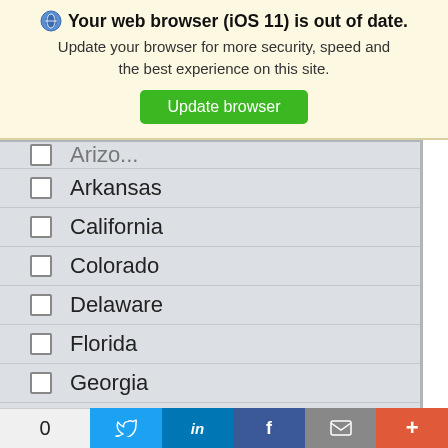[Figure (screenshot): Browser update notification banner with shield icon, bold title 'Your web browser (iOS 11) is out of date.', subtitle text, and green Update browser button]
☐ Arizona (partial, cut off at top)
☐ Arkansas
☐ California
☐ Colorado
☐ Delaware
☐ Florida
☐ Georgia
☐ Hawaii
☐ Idaho
☐ Illinois
[Figure (screenshot): Bottom share toolbar with count '0', Twitter, LinkedIn, Facebook, Email, and More (+) buttons]